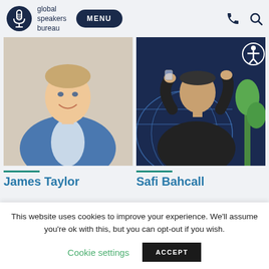global speakers bureau — MENU
[Figure (photo): Headshot of James Taylor, smiling man in blue blazer]
[Figure (photo): Photo of Safi Bahcall speaking on stage, gesturing with hands]
James Taylor
Safi Bahcall
This website uses cookies to improve your experience. We'll assume you're ok with this, but you can opt-out if you wish.
Cookie settings   ACCEPT